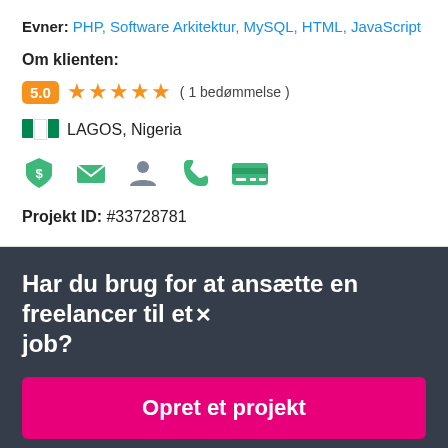Evner: PHP, Software Arkitektur, MySQL, HTML, JavaScript
Om klienten:
5.0 ★★★★★ ( 1 bedømmelse )
🇳🇬 LAGOS, Nigeria
[Figure (infographic): Row of 5 green verification/contact icons: shield with dollar, envelope, person, phone, credit card]
Projekt ID: #33728781
Har du brug for at ansætte en freelancer til et job?
Opret et projekt